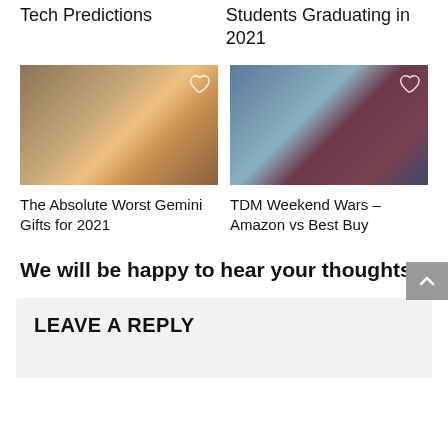Tech Predictions
Students Graduating in 2021
[Figure (photo): Child handing a blue book or gift across a wooden table with candlelight in background]
[Figure (photo): Man with mustache wearing headphones/ear protection sitting at a desk]
The Absolute Worst Gemini Gifts for 2021
TDM Weekend Wars – Amazon vs Best Buy
We will be happy to hear your thoughts
LEAVE A REPLY